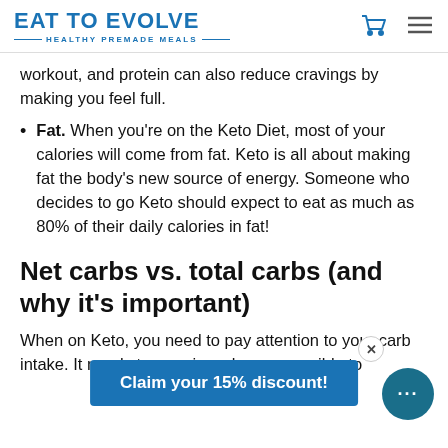EAT TO EVOLVE — HEALTHY PREMADE MEALS
workout, and protein can also reduce cravings by making you feel full.
Fat. When you're on the Keto Diet, most of your calories will come from fat. Keto is all about making fat the body's new source of energy. Someone who decides to go Keto should expect to eat as much as 80% of their daily calories in fat!
Net carbs vs. total carbs (and why it's important)
When on Keto, you need to pay attention to your carb intake. It needs to remain as low as possible to